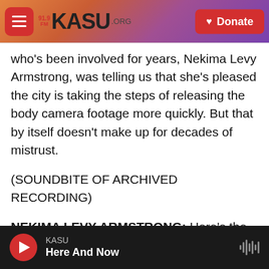91.9FM KASU.ORG | Donate
who's been involved for years, Nekima Levy Armstrong, was telling us that she's pleased the city is taking the steps of releasing the body camera footage more quickly. But that by itself doesn't make up for decades of mistrust.
(SOUNDBITE OF ARCHIVED RECORDING)
NEKIMA LEVY ARMSTRONG: Here's the body camera footage being released so swiftly because people are demanding the release of the information or because police feel that there's information that will vindicate or exonerate the
KASU | Here And Now